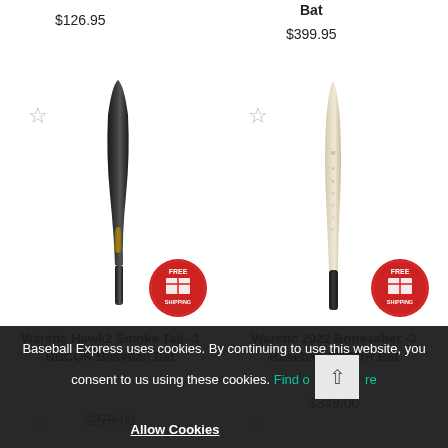$126.95
Bat
$399.95
[Figure (photo): Warstic Hawk2 Smoke Tail -3 BBCOR Baseball Bat - dark baseball bat with gold accent]
[Figure (photo): Warstic 2022 Bonesaber -3 Baseball BBCOR Bat - light/cream colored baseball bat]
[Figure (logo): Free shipping badge - red circular badge with box icon and text FREE SHIPPING]
[Figure (logo): Free shipping badge - red circular badge with box icon and text FREE SHIPPING]
Warstic Hawk2 Smoke Tail -3 BBCOR Baseball Bat
Warstic 2022 Bonesaber -3 Baseball BBCOR Bat
$349.00
$279.00
Baseball Express uses cookies. By continuing to use this website, you consent to us using these cookies. Find out more
Allow Cookies